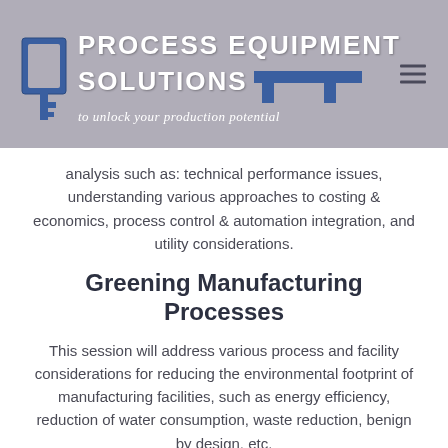[Figure (logo): Process Equipment Solutions logo with key graphic and tagline 'to unlock your production potential' on a gray background]
analysis such as: technical performance issues, understanding various approaches to costing & economics, process control & automation integration, and utility considerations.
Greening Manufacturing Processes
This session will address various process and facility considerations for reducing the environmental footprint of manufacturing facilities, such as energy efficiency, reduction of water consumption, waste reduction, benign by design, etc.